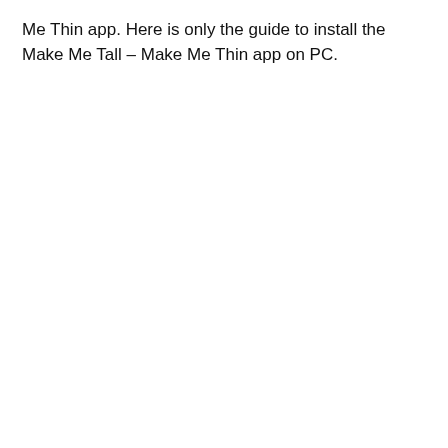Me Thin app. Here is only the guide to install the Make Me Tall – Make Me Thin app on PC.